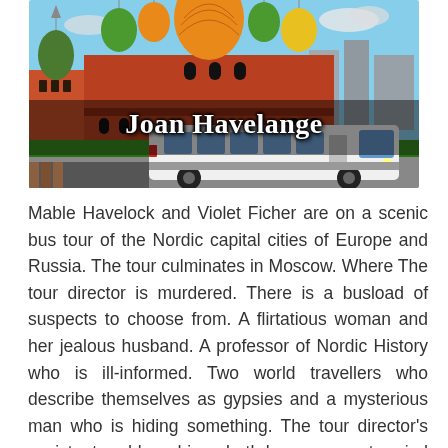[Figure (illustration): Book cover illustration showing colorful Russian architecture (St. Basil's Cathedral style with onion domes in red, green, orange colors) and a white tour bus in the foreground, with the author name 'Joan Havelange' overlaid in white bold text]
Mable Havelock and Violet Ficher are on a scenic bus tour of the Nordic capital cities of Europe and Russia. The tour culminates in Moscow. Where The tour director is murdered. There is a busload of suspects to choose from. A flirtatious woman and her jealous husband. A professor of Nordic History who is ill-informed. Two world travellers who describe themselves as gypsies and a mysterious man who is hiding something. The tour director's assistant and bus driver; both have an axe to grind against the tour director Hilda Karlson.